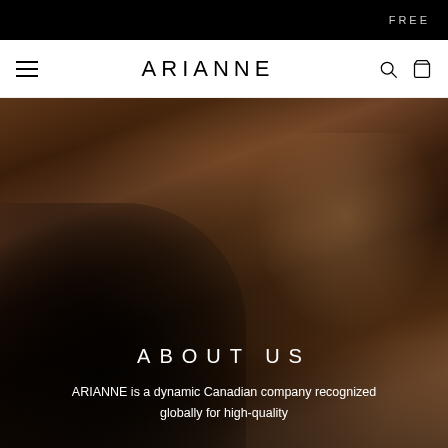FREE
ARIANNE
[Figure (photo): Background photo of a person wearing black lace lingerie on a dark brown background, serving as hero image for the About Us section]
ABOUT US
ARIANNE is a dynamic Canadian company recognized globally for high-quality